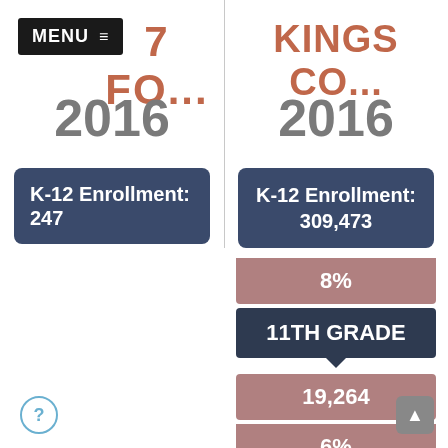MENU ≡  7 FO...
7 FO...
KINGS CO...
2016
2016
K-12 Enrollment: 247
K-12 Enrollment: 309,473
8%
11TH GRADE
19,264
6%